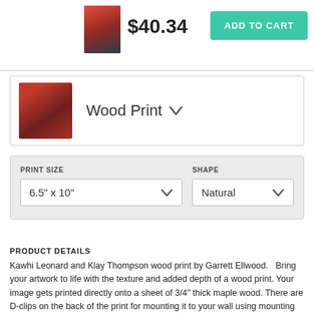[Figure (photo): Small thumbnail of basketball players (Kawhi Leonard and Klay Thompson) in red/blue uniforms]
$40.34
ADD TO CART
[Figure (photo): Wood print product thumbnail of basketball players]
Wood Print
PRINT SIZE
6.5" x 10"
SHAPE
Natural
PRODUCT DETAILS
Kawhi Leonard and Klay Thompson wood print by Garrett Ellwood.   Bring your artwork to life with the texture and added depth of a wood print. Your image gets printed directly onto a sheet of 3/4" thick maple wood. There are D-clips on the back of the print for mounting it to your wall using mounting hooks and nails (included).